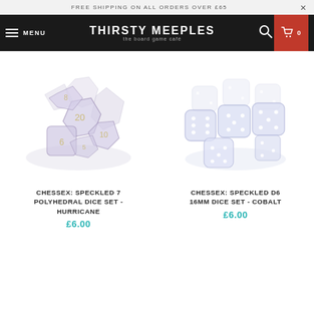FREE SHIPPING ON ALL ORDERS OVER £65
THIRSTY MEEPLES the board game café MENU 0
[Figure (photo): Chessex Speckled 7 Polyhedral Dice Set - Hurricane, translucent purple/grey dice with gold numbers]
CHESSEX: SPECKLED 7 POLYHEDRAL DICE SET - HURRICANE
£6.00
[Figure (photo): Chessex Speckled D6 16mm Dice Set - Cobalt, translucent bluish-white dice with white pips]
CHESSEX: SPECKLED D6 16MM DICE SET - COBALT
£6.00